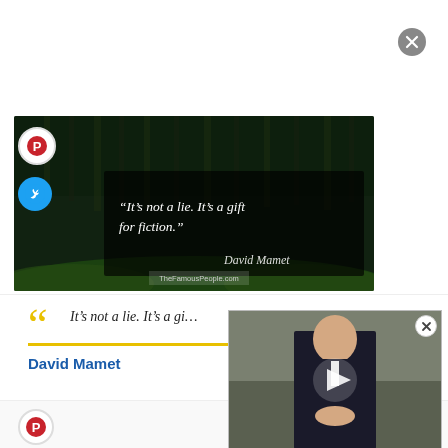[Figure (illustration): Close/dismiss button (grey circle with X) in upper right area of page]
[Figure (photo): Quote image card: forest background with dark overlay. Text reads: "It's not a lie. It's a gift for fiction." with attribution 'David Mamet' and TheFamousPeople.com watermark. Pinterest and Twitter share buttons on left side.]
“It’s not a lie. It’s a gi…
David Mamet
[Figure (photo): Video overlay thumbnail showing a man in a dark suit, with a play button in the center and a close (X) button in the upper right corner.]
[Figure (illustration): Pinterest button (red circle with P logo) at bottom left]